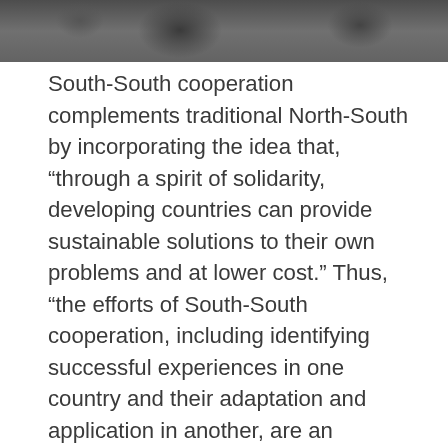[Figure (photo): Partial photo strip at top of page showing people in a meeting or conference setting, rendered in grayscale/dark tones]
South-South cooperation complements traditional North-South by incorporating the idea that, “through a spirit of solidarity, developing countries can provide sustainable solutions to their own problems and at lower cost.” Thus, “the efforts of South-South cooperation, including identifying successful experiences in one country and their adaptation and application in another, are an important contribution to the dissemination of the results of decent work for the four strategic objectives of addition ILO.” At the same time, it allows networking among developing countries and traditional development partners